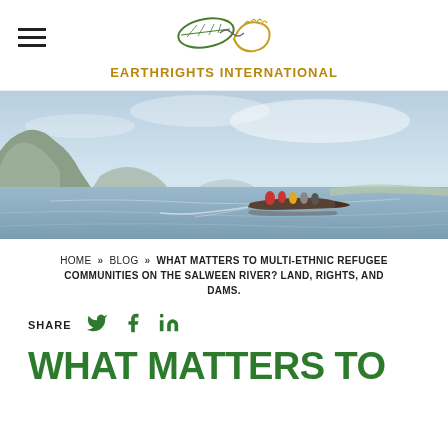[Figure (logo): EarthRights International logo with leaf and hand SVG graphic and text below]
[Figure (photo): Scenic river landscape with calm water, mountains in background, and a long-tail boat with passengers in the middle of the frame under a hazy blue sky]
HOME » BLOG » WHAT MATTERS TO MULTI-ETHNIC REFUGEE COMMUNITIES ON THE SALWEEN RIVER? LAND, RIGHTS, AND DAMS.
SHARE
WHAT MATTERS TO